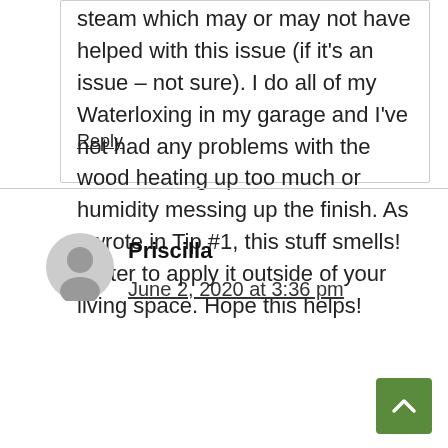steam which may or may not have helped with this issue (if it's an issue – not sure). I do all of my Waterloxing in my garage and I've not had any problems with the wood heating up too much or humidity messing up the finish. As I wrote in Tip #1, this stuff smells! Better to apply it outside of your living space. Hope this helps!
Reply
Priscilla
June 2, 2020 at 3:36 pm